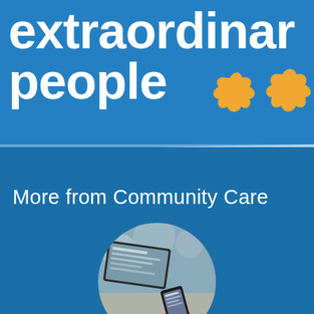[Figure (illustration): Blue banner section with large white bold text reading 'extraordinary people' (partially cropped at top), with two golden/orange star decorative shapes in the lower right area]
More from Community Care
[Figure (photo): Circular cropped photograph showing a person's hand holding a smartphone, with a tablet device visible in the background, on a dark teal background]